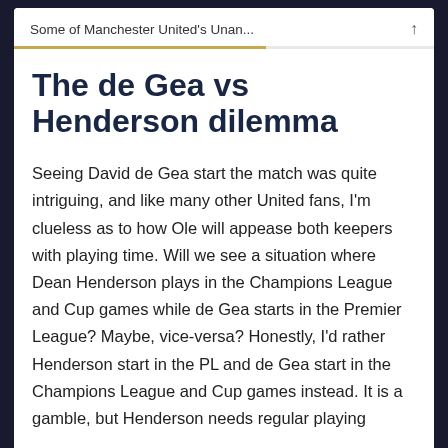Some of Manchester United's Unan...
The de Gea vs Henderson dilemma
Seeing David de Gea start the match was quite intriguing, and like many other United fans, I'm clueless as to how Ole will appease both keepers with playing time. Will we see a situation where Dean Henderson plays in the Champions League and Cup games while de Gea starts in the Premier League? Maybe, vice-versa? Honestly, I'd rather Henderson start in the PL and de Gea start in the Champions League and Cup games instead. It is a gamble, but Henderson needs regular playing